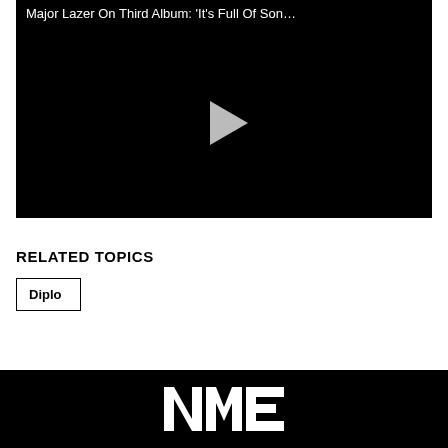[Figure (screenshot): Video player with black background showing a play button in the center. Title reads: Major Lazer On Third Album: 'It's Full Of Son…']
RELATED TOPICS
Diplo
[Figure (logo): NME logo in white on black background]